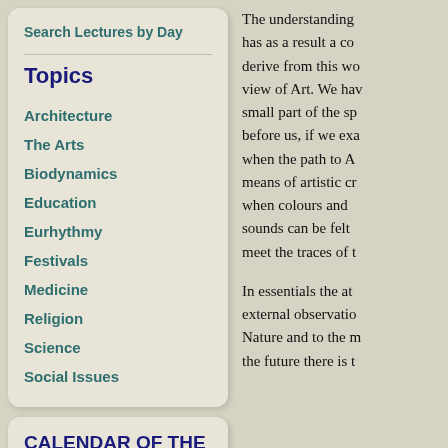Search Lectures by Day
Topics
Architecture
The Arts
Biodynamics
Education
Eurhythmy
Festivals
Medicine
Religion
Science
Social Issues
CALENDAR OF THE SOUL
The understanding has as a result a co derive from this wo view of Art. We hav small part of the sp before us, if we exa when the path to A means of artistic cr when colours and sounds can be felt meet the traces of t
In essentials the at external observatio Nature and to the m the future there is t